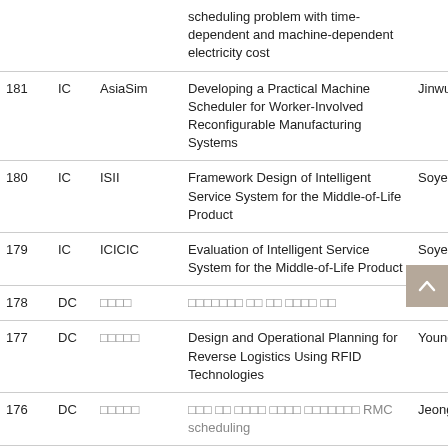| No. | Type | Conference | Title | Author |
| --- | --- | --- | --- | --- |
|  |  |  | scheduling problem with time-dependent and machine-dependent electricity cost |  |
| 181 | IC | AsiaSim | Developing a Practical Machine Scheduler for Worker-Involved Reconfigurable Manufacturing Systems | Jinwu |
| 180 | IC | ISII | Framework Design of Intelligent Service System for the Middle-of-Life Product | Soyed |
| 179 | IC | ICICIC | Evaluation of Intelligent Service System for the Middle-of-Life Product | Soyed |
| 178 | DC | □□□□ | □□□□□□□ □□ □□ □□□□ □□ | Jinwu |
| 177 | DC | □□□□□ | Design and Operational Planning for Reverse Logistics Using RFID Technologies | Young |
| 176 | DC | □□□□□ | □□□ □□ □□□□ □□□□ □□□□□□□ RMC scheduling | Jeong |
| 175 | DC | □□□□□□ | Software Development Effort | Young |